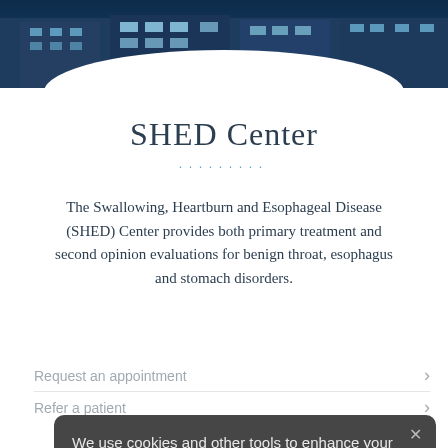[Figure (photo): Hospital building exterior at night with illuminated facade]
SHED Center
The Swallowing, Heartburn and Esophageal Disease (SHED) Center provides both primary treatment and second opinion evaluations for benign throat, esophagus and stomach disorders.
We use cookies and other tools to enhance your experience on our website and to analyze our web traffic. For more information about these cookies and the data collected, please refer to our Privacy Policy.
Request an appointment
Refer a patient
617-724-1020